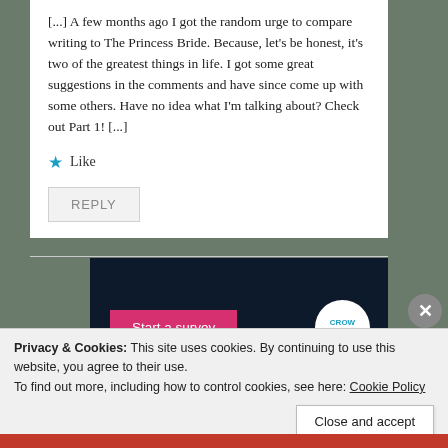[...] A few months ago I got the random urge to compare writing to The Princess Bride. Because, let's be honest, it's two of the greatest things in life. I got some great suggestions in the comments and have since come up with some others. Have no idea what I'm talking about? Check out Part 1! [...]
★ Like
REPLY
[Figure (screenshot): Dark navy advertisement banner with a pink 'Start a survey' button on the left and a white circular logo reading 'CROWD SIGNAL' on the right.]
Privacy & Cookies: This site uses cookies. By continuing to use this website, you agree to their use.
To find out more, including how to control cookies, see here: Cookie Policy
Close and accept